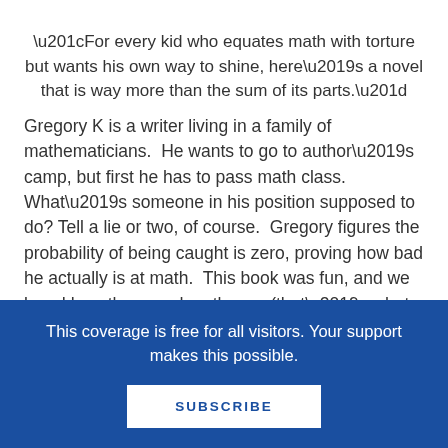“For every kid who equates math with torture but wants his own way to shine, here’s a novel that is way more than the sum of its parts.”
Gregory K is a writer living in a family of mathematicians.  He wants to go to author’s camp, but first he has to pass math class.  What’s someone in his position supposed to do? Tell a lie or two, of course.  Gregory figures the probability of being caught is zero, proving how bad he actually is at math.  This book was fun, and we loved how they used mathease (that’s what we call math speak,
This coverage is free for all visitors. Your support makes this possible.
SUBSCRIBE